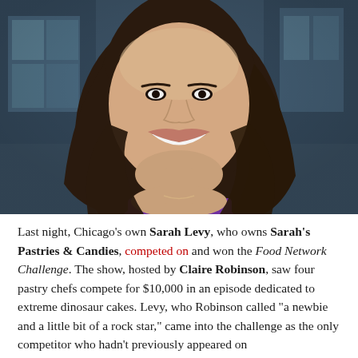[Figure (photo): Headshot of a smiling woman with long dark hair wearing a purple top, photographed against a blurred urban background with glass buildings.]
Last night, Chicago's own Sarah Levy, who owns Sarah's Pastries & Candies, competed on and won the Food Network Challenge. The show, hosted by Claire Robinson, saw four pastry chefs compete for $10,000 in an episode dedicated to extreme dinosaur cakes. Levy, who Robinson called "a newbie and a little bit of a rock star," came into the challenge as the only competitor who hadn't previously appeared on the show. She'd it was a really exciting episode.